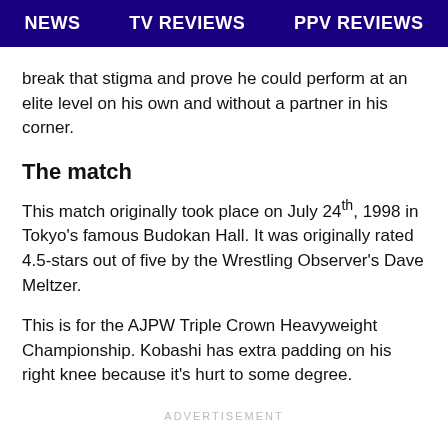NEWS   TV REVIEWS   PPV REVIEWS
break that stigma and prove he could perform at an elite level on his own and without a partner in his corner.
The match
This match originally took place on July 24th, 1998 in Tokyo's famous Budokan Hall. It was originally rated 4.5-stars out of five by the Wrestling Observer's Dave Meltzer.
This is for the AJPW Triple Crown Heavyweight Championship. Kobashi has extra padding on his right knee because it's hurt to some degree.
ADVERTISEMENT